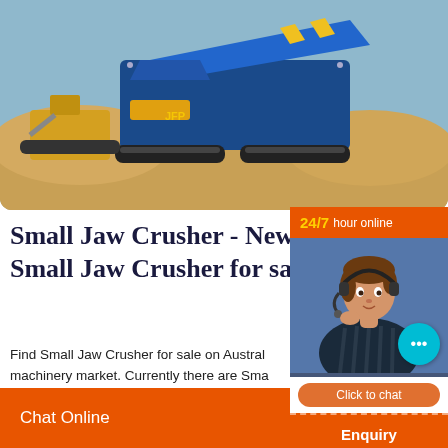[Figure (photo): Industrial jaw crusher / mining machinery on a sandy site — a large blue and yellow tracked crushing plant with a bulldozer/loader visible in the background, sandy mounds around it.]
Small Jaw Crusher - New & Used Small Jaw Crusher for sale
Find Small Jaw Crusher for sale on Australasia's machinery market. Currently there are Small Jaw Crusher dealer or private sales. Browse further to find...
[Figure (infographic): Online chat support widget with orange header showing '24/7 hour online', a female customer service agent with headset, a teal chat bubble with ellipsis, an orange 'Click to chat' button, and an orange 'Enquiry' button.]
Chat Online   cywaitml @gmail.com